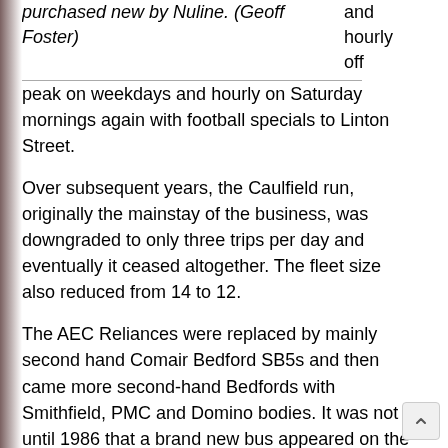purchased new by Nuline. (Geoff Foster)
and hourly off peak on weekdays and hourly on Saturday mornings again with football specials to Linton Street.
Over subsequent years, the Caulfield run, originally the mainstay of the business, was downgraded to only three trips per day and eventually it ceased altogether. The fleet size also reduced from 14 to 12.
The AEC Reliances were replaced by mainly second hand Comair Bedford SB5s and then came more second-hand Bedfords with Smithfield, PMC and Domino bodies. It was not until 1986 that a brand new bus appeared on the routes in the form of a Volvo B6FA/ Newnham with a second such unit being delivered after the sale. Ray did not particularly like the AEC Reliances because of their propensity for blowing head gaskets regularly once the bus had passed the 100,000 m mark – the Essendon based one was notable for this.